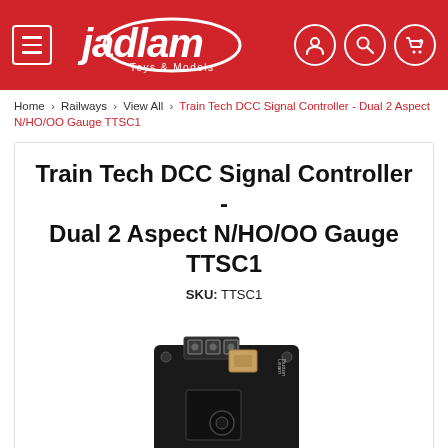[Figure (logo): Jadlam Toys & Models logo on red header with hamburger menu icon and user/search/cart icons]
Home > Railways > View All > Train Tech DCC Signal Controller - Dual 2 Aspect N/HO/OO Gauge TTSC1
Train Tech DCC Signal Controller - Dual 2 Aspect N/HO/OO Gauge TTSC1
SKU: TTSC1
[Figure (photo): Photo of a Train Tech TTSC1 DCC Signal Controller circuit board, black PCB with screw terminals and components]